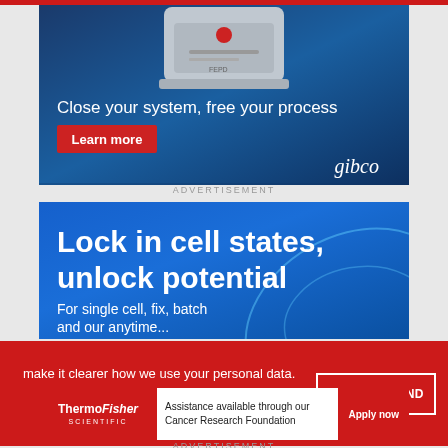[Figure (illustration): Gibco advertisement banner with laboratory device image on dark blue background. Text: 'Close your system, free your process' with 'Learn more' red button and 'gibco' logo.]
ADVERTISEMENT
[Figure (illustration): Blue gradient advertisement banner with bold white text: 'Lock in cell states, unlock potential' and subtitle 'For single cell, fix, batch and our anytime...']
make it clearer how we use your personal data.
Please read our Cookie Policy to learn how we use cookies to provide you
I UNDERSTAND
[Figure (illustration): Thermo Fisher Scientific advertisement with Cancer Research Foundation assistance information and 'Apply now' button.]
ADVERTISEMENT